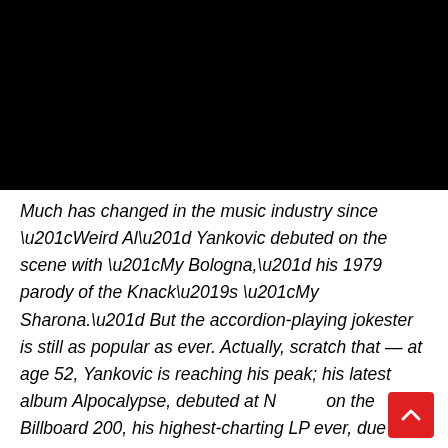[Figure (photo): Black banner/image area at the top of the page]
Much has changed in the music industry since “Weird Al” Yankovic debuted on the scene with “My Bologna,” his 1979 parody of the Knack’s “My Sharona.” But the accordion-playing jokester is still as popular as ever. Actually, scratch that — at age 52, Yankovic is reaching his peak; his latest album Alpocalypse, debuted at N on the Billboard 200, his highest-charting LP ever, due